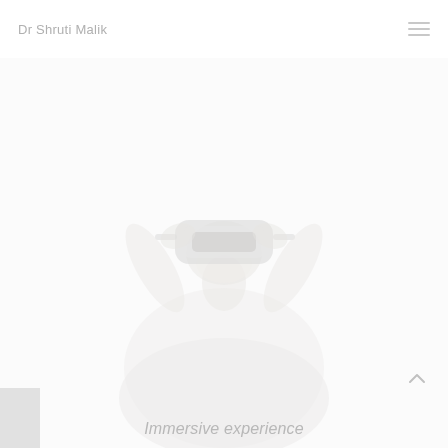Dr Shruti Malik
[Figure (photo): A person wearing a VR (virtual reality) headset, looking upward, dressed in a light grey sweatshirt. The image is very washed out / high-key white background with faint grey tones.]
Immersive experience